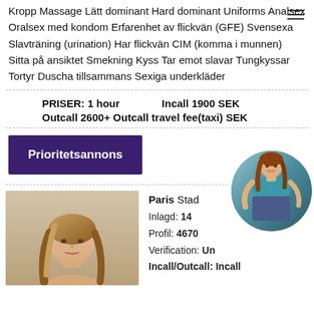Kropp Massage Lätt dominant Hard dominant Uniforms Analsex Oralsex med kondom Erfarenhet av flickvän (GFE) Svensexa Slavträning (urination) Har flickvän CIM (komma i munnen) Sitta på ansiktet Smekning Kyss Tar emot slavar Tungkyssar Tortyr Duscha tillsammans Sexiga underkläder
PRISER: 1 hour    Incall 1900 SEK
Outcall 2600+ Outcall travel fee(taxi) SEK
Prioritetsannons
Paris Stad
Inlagd: 14...
Profil: 4670...
Verification: Un...
Incall/Outcall: Incall